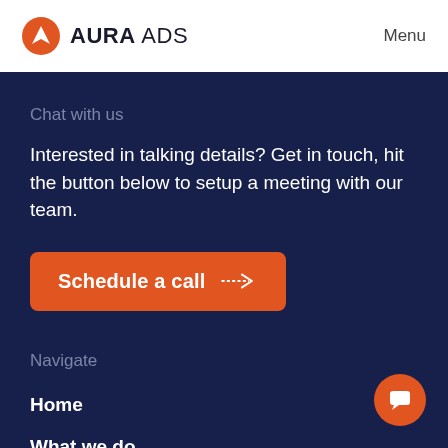[Figure (logo): Aura Ads logo with orange triangular icon and bold text]
Menu
Chat with us
Interested in talking details? Get in touch, hit the button below to setup a meeting with our team.
[Figure (other): Orange 'Schedule a call' button with dashed arrow icon]
Navigate
Home
What we do
How it works
Our creative